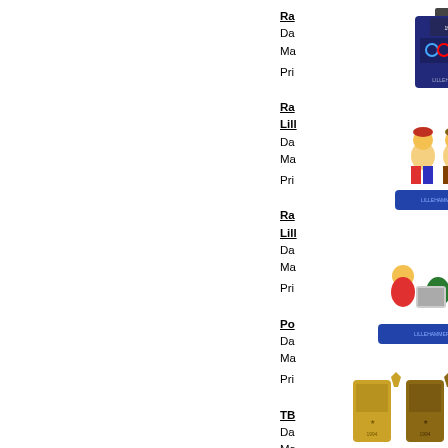[Figure (photo): Olympic pin 1 - rectangular blue and dark pin with Olympic rings and Lillehammer text]
Ra
Da
Ma
Pri
[Figure (photo): Olympic pin 2 - Lillehammer mascots skiing on blue base]
Ra
Lill
Da
Ma
Pri
[Figure (photo): Olympic pin 3 - Lillehammer mascots with bobsled on blue base]
Ra
Lill
Da
Ma
Pri
[Figure (photo): Olympic pins set - three metal pins in gold, bronze, silver colors]
Po
Da
Ma
Pri
[Figure (photo): Olympic pin 5 - small rectangular pin with Olympic rings and portrait]
TB
Da
Ma